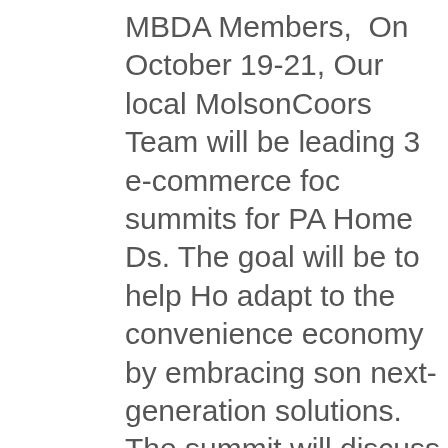MBDA Members,  On October 19-21, Our local MolsonCoors Team will be leading 3 e-commerce focus summits for PA Home Ds. The goal will be to help Home Ds adapt to the convenience economy by embracing some next-generation solutions. The summit will discuss the following topics: In-Store Set-Up/Merchandising TipsEffectively Using Social MediaEcommerceDrizly for DeliveryIn-House Curbside and DeliveryWebsite and AI-Driven EcommerceEmail CRM CommunicationCloud-Based POS SystemsSEO/Maps Integration.
We encourage all of our members to attend this event! Additionally, if members feel that they are experts in any of these fields we ask that they share their knowledge and sign up for the panels being held at these events when they register.
The 3 summits will contain the same content and will be held in the following locations on the following dates t